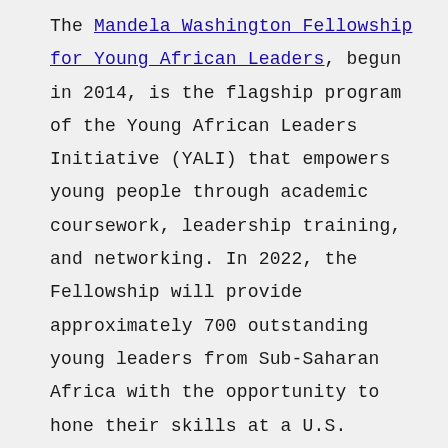The Mandela Washington Fellowship for Young African Leaders, begun in 2014, is the flagship program of the Young African Leaders Initiative (YALI) that empowers young people through academic coursework, leadership training, and networking. In 2022, the Fellowship will provide approximately 700 outstanding young leaders from Sub-Saharan Africa with the opportunity to hone their skills at a U.S. college or university with support for professional development after they return home. The Mandela Washington Fellowship is a program of the U.S. Department of State with funding provided by the U.S. Government and administered by IREX.